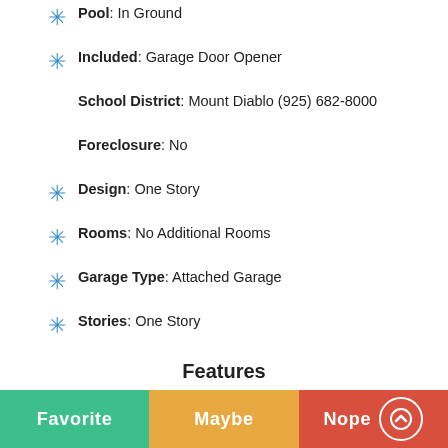Pool: In Ground
Included: Garage Door Opener
School District: Mount Diablo (925) 682-8000
Foreclosure: No
Design: One Story
Rooms: No Additional Rooms
Garage Type: Attached Garage
Stories: One Story
Features
Fireplace: Woodburning
Flooring: Carpet, Laminate
Exterior Features: Porch
Construction: Vinyl Siding
Roof: Composition
Favorite   Maybe   Nope